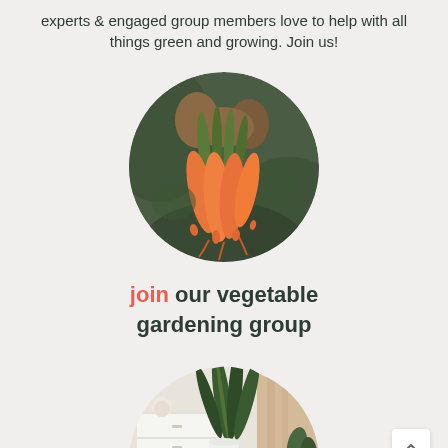experts & engaged group members love to help with all things green and growing. Join us!
[Figure (photo): Circular photo of a person holding a bunch of fresh orange carrots with green tops, blurred garden background]
join our vegetable gardening group
[Figure (photo): Circular photo of an indoor plant scene with a snake plant in a white pot, small decorative items on a white drawer unit, and a beige curtain]